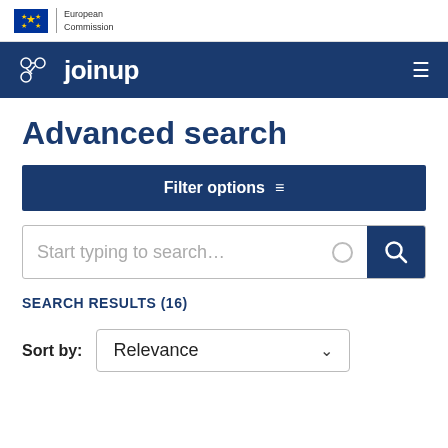European Commission | Joinup
Advanced search
Filter options
Start typing to search…
SEARCH RESULTS (16)
Sort by: Relevance